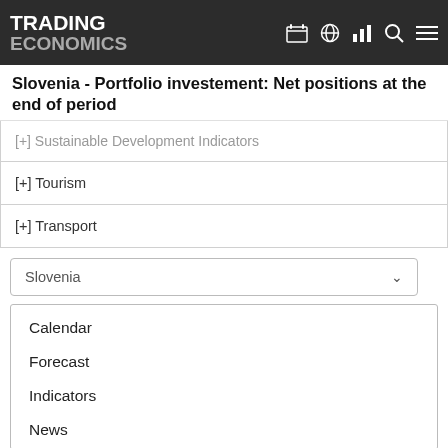TRADING ECONOMICS
Slovenia - Portfolio investement: Net positions at the end of period
[+] Sustainable Development Indicators
[+] Tourism
[+] Transport
Slovenia
Calendar
Forecast
Indicators
News
Markets
GDP